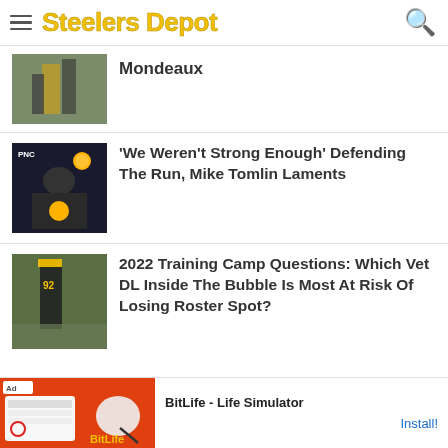Steelers Depot
Mondeaux
'We Weren't Strong Enough' Defending The Run, Mike Tomlin Laments
2022 Training Camp Questions: Which Vet DL Inside The Bubble Is Most At Risk Of Losing Roster Spot?
Ad — BitLife - Life Simulator — Install!